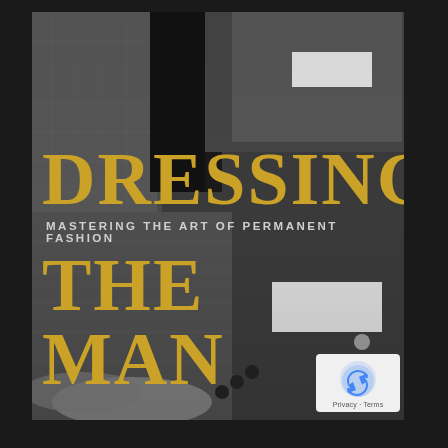[Figure (photo): Black and white close-up photograph of two men in tailored suits, showing suit jackets, cufflinks, shirt cuffs, and hands. The photo forms the background of a book cover.]
DRESSING THE MAN
MASTERING THE ART OF PERMANENT FASHION
[Figure (logo): Google reCAPTCHA badge with the reCAPTCHA logo (blue arrow icon) and text 'Privacy - Terms']